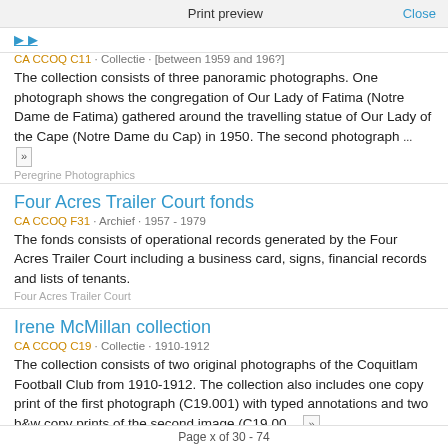Print preview   Close
[truncated top link]
CA CCOQ C11 · Collectie · [between 1959 and 196?]
The collection consists of three panoramic photographs. One photograph shows the congregation of Our Lady of Fatima (Notre Dame de Fatima) gathered around the travelling statue of Our Lady of the Cape (Notre Dame du Cap) in 1950. The second photograph ...
Peregrine Photographics
Four Acres Trailer Court fonds
CA CCOQ F31 · Archief · 1957 - 1979
The fonds consists of operational records generated by the Four Acres Trailer Court including a business card, signs, financial records and lists of tenants.
Four Acres Trailer Court
Irene McMillan collection
CA CCOQ C19 · Collectie · 1910-1912
The collection consists of two original photographs of the Coquitlam Football Club from 1910-1912. The collection also includes one copy print of the first photograph (C19.001) with typed annotations and two b&w copy prints of the second image (C19.00...
Page x of 30 - 74